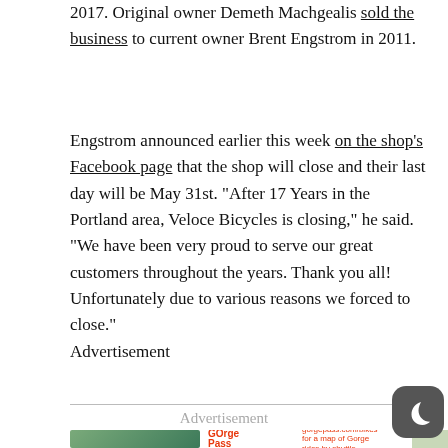2017. Original owner Demeth Machgealis sold the business to current owner Brent Engstrom in 2011.
Engstrom announced earlier this week on the shop's Facebook page that the shop will close and their last day will be May 31st. “After 17 Years in the Portland area, Veloce Bicycles is closing,” he said. “We have been very proud to serve our great customers throughout the years. Thank you all! Unfortunately due to various reasons we forced to close.”
Advertisement
Advertisement
[Figure (photo): Advertisement banner with cyclists photo, GOrge Pass logo, gorgepass.com/bikes text, and a map image, partially visible at bottom of page]